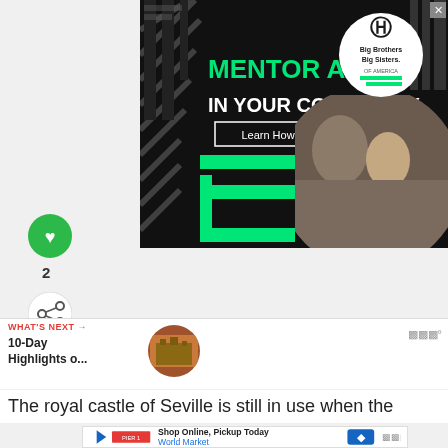[Figure (photo): Big Brothers Big Sisters of America advertisement banner: black background with green geometric patterns, text 'MENTOR A KID IN YOUR COMMUNITY.' with 'Learn How' button, photo of an adult man and a child working on a robotics project together, and the Big Brothers Big Sisters logo in a white circle.]
[Figure (illustration): Green circular like/heart button icon]
2
[Figure (illustration): Share icon button (three dots connected)]
WHAT'S NEXT → 10-Day Highlights o...
[Figure (photo): Circular thumbnail of a travel destination photo]
The royal castle of Seville is still in use when the
[Figure (screenshot): World Market advertisement: 'Shop Online, Pickup Today' with World Market logo and blue navigation icon]